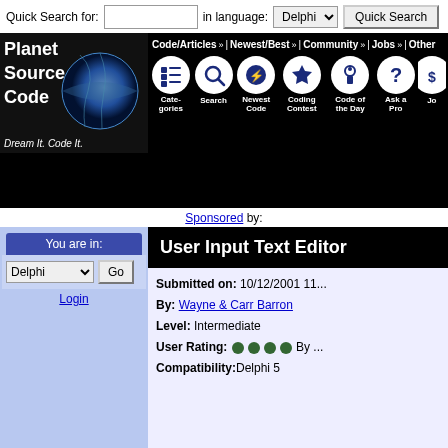Quick Search for: [input] in language: Delphi [dropdown] Quick Search [button]
[Figure (screenshot): Planet Source Code navigation banner with logo showing Earth globe, nav links: Code/Articles, Newest/Best, Community, Jobs, Other, and icons: Categories, Search, Newest Code, Coding Contest, Code of the Day, Ask a Pro, Jo...]
Sponsored by:
You are in:
Delphi [Go] Login
User Input Text Editor
Submitted on: 10/12/2001 11...
By: Wayne & Carr Barron
Level: Intermediate
User Rating: ●●●● By ...
Compatibility: Delphi 5